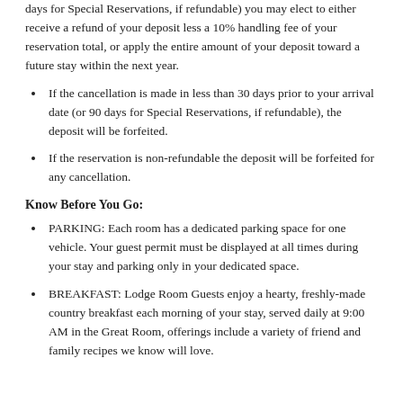days for Special Reservations, if refundable) you may elect to either receive a refund of your deposit less a 10% handling fee of your reservation total, or apply the entire amount of your deposit toward a future stay within the next year.
If the cancellation is made in less than 30 days prior to your arrival date (or 90 days for Special Reservations, if refundable), the deposit will be forfeited.
If the reservation is non-refundable the deposit will be forfeited for any cancellation.
Know Before You Go:
PARKING: Each room has a dedicated parking space for one vehicle. Your guest permit must be displayed at all times during your stay and parking only in your dedicated space.
BREAKFAST: Lodge Room Guests enjoy a hearty, freshly-made country breakfast each morning of your stay, served daily at 9:00 AM in the Great Room, offerings include a variety of friend and family recipes we know will love.